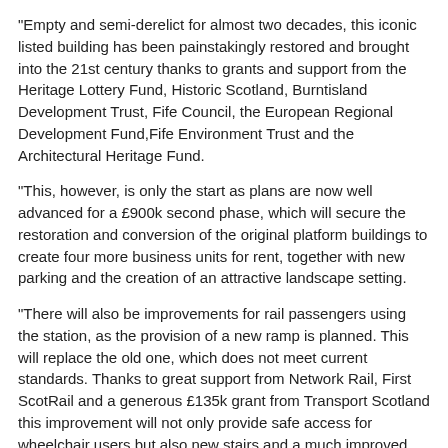“Empty and semi-derelict for almost two decades, this iconic listed building has been painstakingly restored and brought into the 21st century thanks to grants and support from the Heritage Lottery Fund, Historic Scotland, Burntisland Development Trust, Fife Council, the European Regional Development Fund,Fife Environment Trust and the Architectural Heritage Fund.
“This, however, is only the start as plans are now well advanced for a £900k second phase, which will secure the restoration and conversion of the original platform buildings to create four more business units for rent, together with new parking and the creation of an attractive landscape setting.
“There will also be improvements for rail passengers using the station, as the provision of a new ramp is planned. This will replace the old one, which does not meet current standards. Thanks to great support from Network Rail, First ScotRail and a generous £135k grant from Transport Scotland this improvement will not only provide safe access for wheelchair users but also new stairs and a much improved environment around the station.”
Gordon Brown MP, was given a tour of the building. He said: “The restoration of this historic building demonstrates how Fife’s rich built heritage can be used to create the development of it…